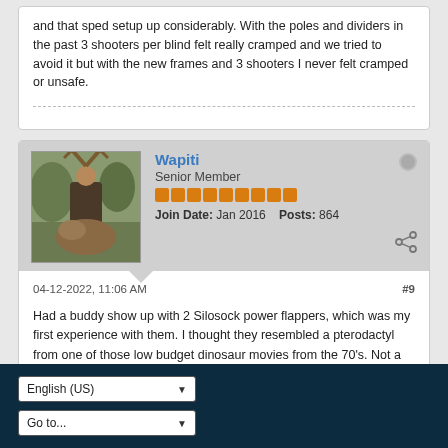and that sped setup up considerably. With the poles and dividers in the past 3 shooters per blind felt really cramped and we tried to avoid it but with the new frames and 3 shooters I never felt cramped or unsafe.
[Figure (photo): Avatar photo of user Wapiti showing a hunter with an elk]
Wapiti
Senior Member
Join Date: Jan 2016  Posts: 864
04-12-2022, 11:06 AM
#9
Had a buddy show up with 2 Silosock power flappers, which was my first experience with them. I thought they resembled a pterodactyl from one of those low budget dinosaur movies from the 70's. Not a fan...
English (US)  Go to...